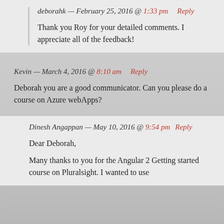deborahk — February 25, 2016 @ 1:33 pm   Reply
Thank you Roy for your detailed comments. I appreciate all of the feedback!
Kevin — March 4, 2016 @ 8:10 am   Reply
Deborah you are a good communicator. Can you please do a course on Azure webApps?
Dinesh Angappan — May 10, 2016 @ 9:54 pm   Reply
Dear Deborah,
Many thanks to you for the Angular 2 Getting started course on Pluralsight. I wanted to use